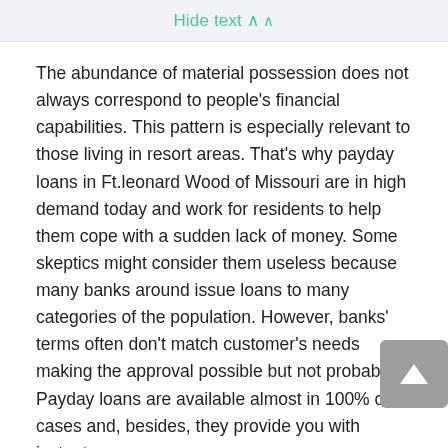Hide text ∧
The abundance of material possession does not always correspond to people's financial capabilities. This pattern is especially relevant to those living in resort areas. That's why payday loans in Ft.leonard Wood of Missouri are in high demand today and work for residents to help them cope with a sudden lack of money. Some skeptics might consider them useless because many banks around issue loans to many categories of the population. However, banks' terms often don't match customer's needs making the approval possible but not probable. Payday loans are available almost in 100% of cases and, besides, they provide you with instant money.
Ft.leonard Wood payday loans are an opportunity to get cash in advance for a short term, and it is commonly due on your next payday. One can get them in storefront lenders or online. They are notorious for high cost but